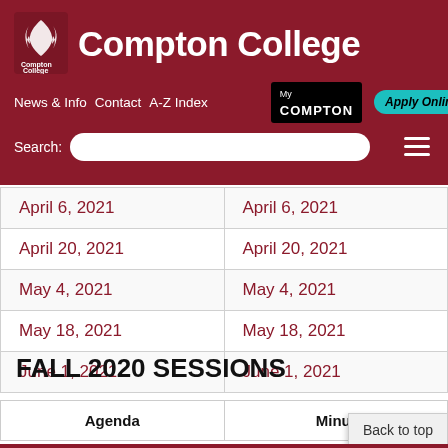[Figure (logo): Compton College logo with stylized flame/bird icon in white on dark red background, with text 'Compton College' below icon]
Compton College — News & Info  Contact  A-Z Index  My COMPTON  Apply Online  Search:
| April 6, 2021 | April 6, 2021 |
| April 20, 2021 | April 20, 2021 |
| May 4, 2021 | May 4, 2021 |
| May 18, 2021 | May 18, 2021 |
| June 1, 2021 | June 1, 2021 |
FALL 2020 SESSIONS
| Agenda | Minutes |
| --- | --- |